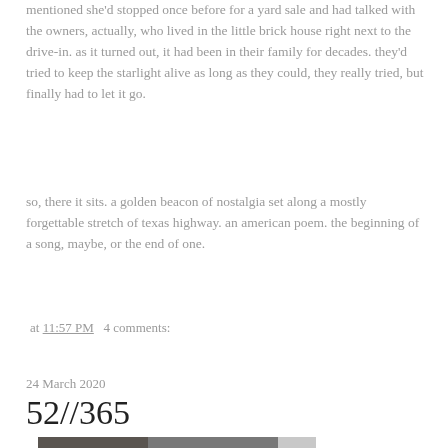mentioned she'd stopped once before for a yard sale and had talked with the owners, actually, who lived in the little brick house right next to the drive-in. as it turned out, it had been in their family for decades. they'd tried to keep the starlight alive as long as they could, they really tried, but finally had to let it go.
so, there it sits. a golden beacon of nostalgia set along a mostly forgettable stretch of texas highway. an american poem. the beginning of a song, maybe, or the end of one.
at 11:57 PM   4 comments:
24 March 2020
52//365
[Figure (photo): A photograph showing a person taking a mirror selfie, wearing a sequined or sparkly outfit. The setting appears to be indoors near a white door. The image is partially visible, cropped at the bottom of the page.]